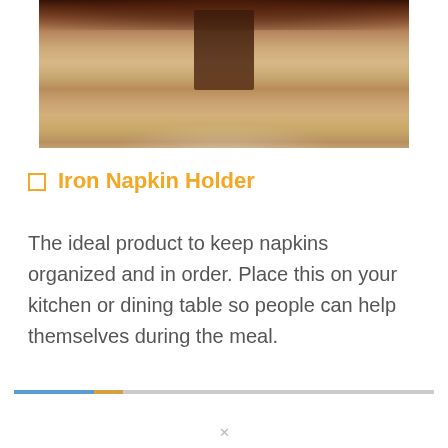[Figure (photo): Partial photo of an iron napkin holder on a wooden surface, showing the base of the product on a light wood grain table]
🔲 Iron Napkin Holder
The ideal product to keep napkins organized and in order. Place this on your kitchen or dining table so people can help themselves during the meal.